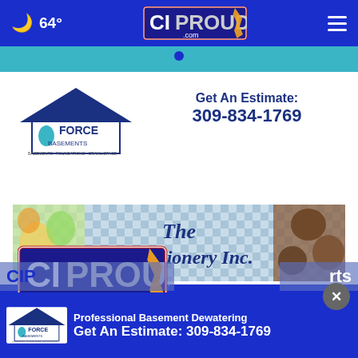64° CIProud.com navigation header with hamburger menu
[Figure (screenshot): Teal advertisement banner strip at top of content area]
[Figure (logo): Force Basements logo with house icon and water drop]
Get An Estimate: 309-834-1769
[Figure (screenshot): The Confectionery Inc. banner ad with candies and cookies]
[Figure (logo): CIProud.com logo large in blue footer area]
[Figure (screenshot): Sticky bottom ad: Force Basements - Professional Basement Dewatering, Get An Estimate: 309-834-1769]